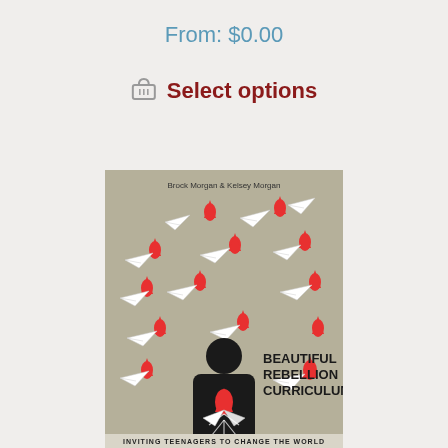From: $0.00
Select options
[Figure (illustration): Book cover for 'Beautiful Rebellion Curriculum' by Brock Morgan & Kelsey Morgan. Taupe/beige background with multiple white paper airplanes and red flames scattered across it. A black silhouette of a person stands in the lower center with a red flame and paper airplane on their chest. Text reads 'BEAUTIFUL REBELLION CURRICULUM' in bold black. Bottom text reads 'INVITING TEENAGERS TO CHANGE THE WORLD'.]